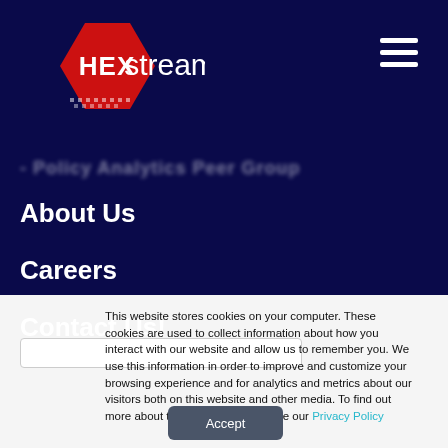[Figure (logo): HEXstream logo — red hexagon with HEX text and 'stream' text next to it]
- Policy Analytics Peer Group
About Us
Careers
Contact Us!
This website stores cookies on your computer. These cookies are used to collect information about how you interact with our website and allow us to remember you. We use this information in order to improve and customize your browsing experience and for analytics and metrics about our visitors both on this website and other media. To find out more about the cookies we use, see our Privacy Policy
Accept